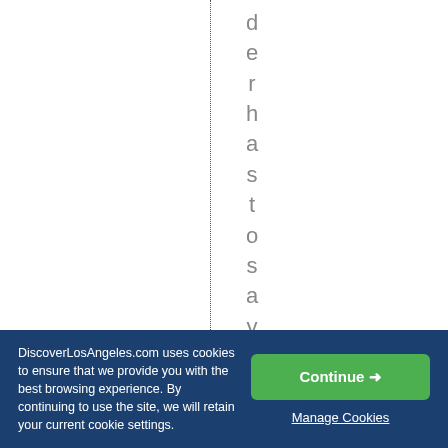d e r h a s t o s a y a b o u t
DiscoverLosAngeles.com uses cookies to ensure that we provide you with the best browsing experience. By continuing to use the site, we will retain your current cookie settings.
Continue →
Manage Cookies